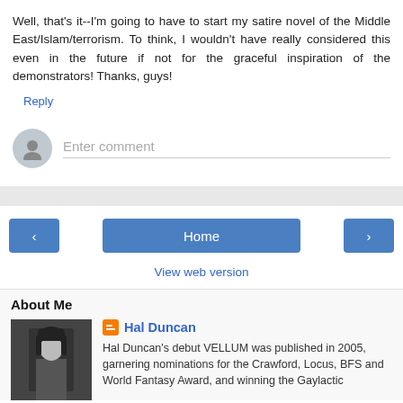Well, that's it--I'm going to have to start my satire novel of the Middle East/Islam/terrorism. To think, I wouldn't have really considered this even in the future if not for the graceful inspiration of the demonstrators! Thanks, guys!
Reply
Enter comment
‹
Home
›
View web version
About Me
Hal Duncan
Hal Duncan's debut VELLUM was published in 2005, garnering nominations for the Crawford, Locus, BFS and World Fantasy Award, and winning the Gaylactic